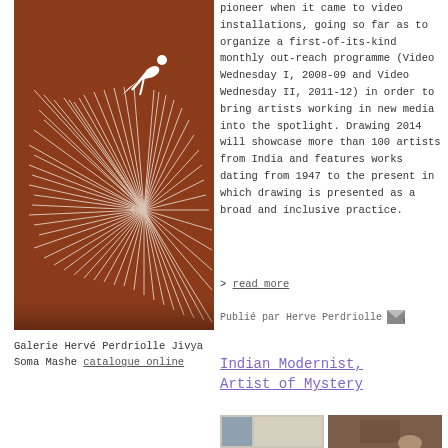[Figure (photo): Artwork photo: white figure on brown background with radiating lines, Jivya Soma Mashe artwork]
Galerie Hervé Perdriolle Jivya Soma Mashe catalogue online
pioneer when it came to video installations, going so far as to organize a first-of-its-kind monthly out-reach programme (Video Wednesday I, 2008-09 and Video Wednesday II, 2011-12) in order to bring artists working in new media into the spotlight. Drawing 2014 will showcase more than 100 artists from India and features works dating from 1947 to the present in which drawing is presented as a broad and inclusive practice.
> read more
Publié par Herve Perdriolle
Indian Modernist, Artist of Mystery
[Figure (photo): Two-part photo at bottom: left shows interior room with window, right shows brown textured surface with figure]